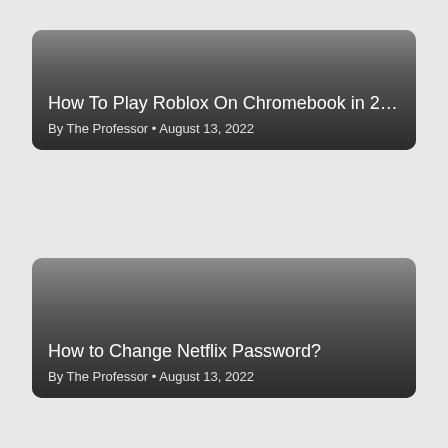[Figure (screenshot): Article card thumbnail with gradient overlay showing title 'How To Play Roblox On Chromebook in 20...' by The Professor, August 13, 2022]
How To Play Roblox On Chromebook in 20...
By The Professor • August 13, 2022
[Figure (screenshot): Article card thumbnail with gradient overlay showing title 'How to Change Netflix Password?' by The Professor, August 13, 2022]
How to Change Netflix Password?
By The Professor • August 13, 2022